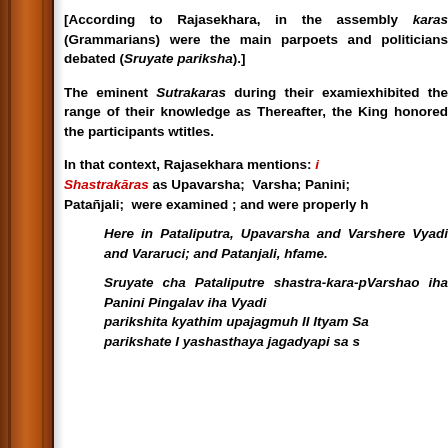[According to Rajasekhara, in the assembly Sutrakaras (Grammarians) were the main participants, where poets and politicians debated (Sruyate... pariksha).]
The eminent Sutrakaras during their examination exhibited the range of their knowledge as... Thereafter, the King honored the participants with titles.
In that context, Rajasekhara mentions: important Shastrakāras as Upavarsha; Varsha; Panini; Patañjali; were examined ; and were properly h...
Here in Pataliputra, Upavarsha and Varsha... here Vyadi and Vararuci; and Patanjali, h... fame.
Sruyate cha Pataliputre shastra-kara-p... Varshao iha Panini Pingalav iha Vyadi... parikshita kyathim upajagmuh II Ityam Sa... parikshate I yashasthaya jagadyapi sa s...